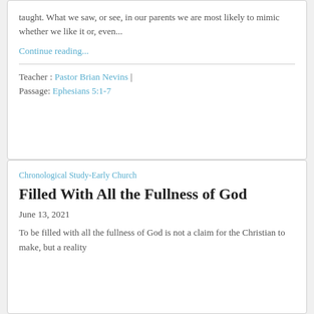taught. What we saw, or see, in our parents we are most likely to mimic whether we like it or, even...
Continue reading...
Teacher : Pastor Brian Nevins | Passage: Ephesians 5:1-7
Chronological Study-Early Church
Filled With All the Fullness of God
June 13, 2021
To be filled with all the fullness of God is not a claim for the Christian to make, but a reality